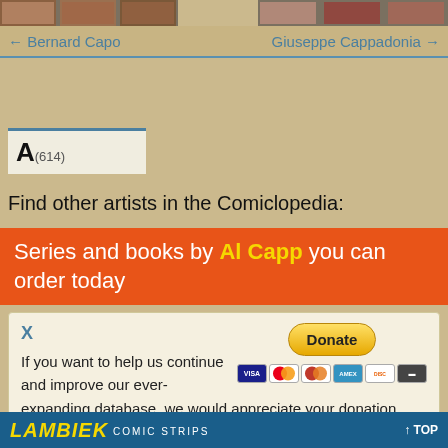[Figure (screenshot): Thumbnail images of comic artists at the top of the page, left and right sides]
← Bernard Capo    Giuseppe Cappadonia →
[Figure (screenshot): Alphabet index tab showing letter A with count (614)]
Find other artists in the Comiclopedia:
Series and books by Al Capp you can order today
X
If you want to help us continue and improve our ever- expanding database, we would appreciate your donation through Paypal.
LAMBIEK COMIC STRIPS  ↑ TOP